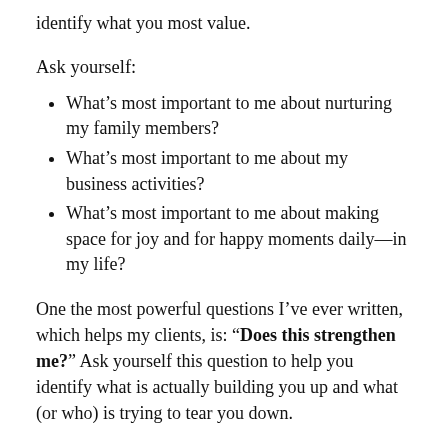identify what you most value.
Ask yourself:
What’s most important to me about nurturing my family members?
What’s most important to me about my business activities?
What’s most important to me about making space for joy and for happy moments daily—in my life?
One the most powerful questions I’ve ever written, which helps my clients, is: “Does this strengthen me?” Ask yourself this question to help you identify what is actually building you up and what (or who) is trying to tear you down.